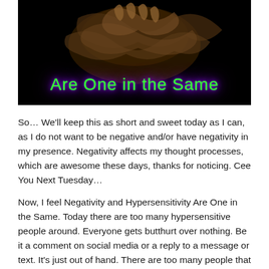[Figure (photo): Dark background image showing what appears to be tangled human-like forms, with neon green glowing text overlay reading 'Are One in the Same' with purple glow effect]
So… We'll keep this as short and sweet today as I can, as I do not want to be negative and/or have negativity in my presence. Negativity affects my thought processes, which are awesome these days, thanks for noticing. Cee You Next Tuesday…
Now, I feel Negativity and Hypersensitivity Are One in the Same. Today there are too many hypersensitive people around. Everyone gets butthurt over nothing. Be it a comment on social media or a reply to a message or text. It's just out of hand. There are too many people that do not understand